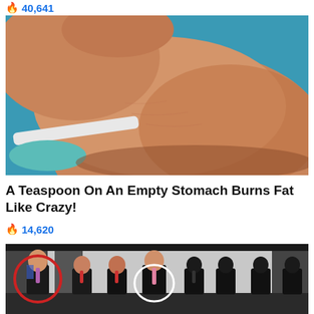40,641
[Figure (photo): Close-up side view of a person's midsection/stomach area showing skin and a bikini strap, with a teal/blue background]
A Teaspoon On An Empty Stomach Burns Fat Like Crazy!
14,620
[Figure (photo): A group photo of men in dark suits, with a red circle highlighting one person on the left and a white circle highlighting another person in the center]